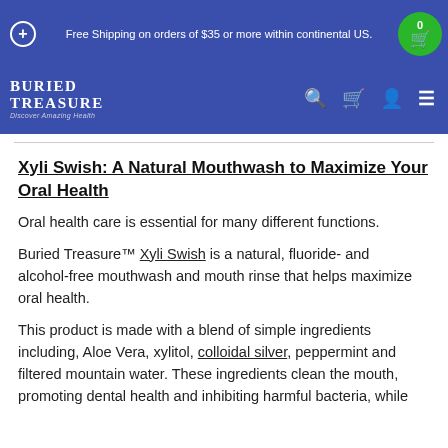Free Shipping on orders of $35 or more within continental US.
[Figure (logo): Buried Treasure logo with text 'BURIED TREASURE Discover Amazing Health' in white on blue background, with navigation icons (search, cart, account, menu)]
Xyli Swish: A Natural Mouthwash to Maximize Your Oral Health
Oral health care is essential for many different functions.
Buried Treasure™ Xyli Swish is a natural, fluoride- and alcohol-free mouthwash and mouth rinse that helps maximize oral health.
This product is made with a blend of simple ingredients including, Aloe Vera, xylitol, colloidal silver, peppermint and filtered mountain water. These ingredients clean the mouth, promoting dental health and inhibiting harmful bacteria, while